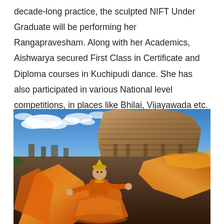decade-long practice, the sculpted NIFT Under Graduate will be performing her Rangapravesham. Along with her Academics, Aishwarya secured First Class in Certificate and Diploma courses in Kuchipudi dance. She has also participated in various National level competitions, in places like Bhilai, Vijayawada etc.
[Figure (photo): A classical Indian dancer in orange costume with flowing fabric performing in front of an ancient stone temple under a blue sky with white clouds. The dancer appears to be in a Kuchipudi pose with dramatic orange saree fabric spread around her.]